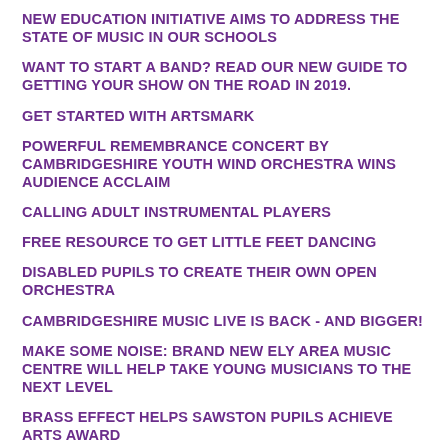NEW EDUCATION INITIATIVE AIMS TO ADDRESS THE STATE OF MUSIC IN OUR SCHOOLS
WANT TO START A BAND? READ OUR NEW GUIDE TO GETTING YOUR SHOW ON THE ROAD IN 2019.
GET STARTED WITH ARTSMARK
POWERFUL REMEMBRANCE CONCERT BY CAMBRIDGESHIRE YOUTH WIND ORCHESTRA WINS AUDIENCE ACCLAIM
CALLING ADULT INSTRUMENTAL PLAYERS
FREE RESOURCE TO GET LITTLE FEET DANCING
DISABLED PUPILS TO CREATE THEIR OWN OPEN ORCHESTRA
CAMBRIDGESHIRE MUSIC LIVE IS BACK - AND BIGGER!
MAKE SOME NOISE: BRAND NEW ELY AREA MUSIC CENTRE WILL HELP TAKE YOUNG MUSICIANS TO THE NEXT LEVEL
BRASS EFFECT HELPS SAWSTON PUPILS ACHIEVE ARTS AWARD
SIGN UP, SING OUT: SING FOR YOUR SCHOOL IS BACK THIS